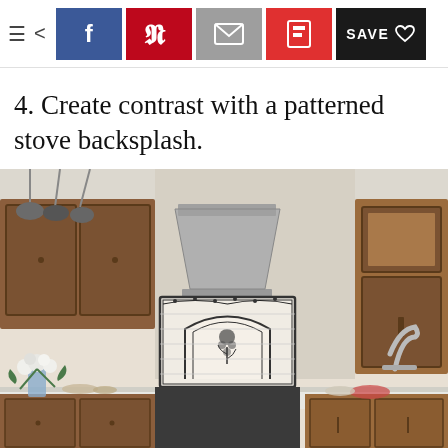≡ < [Facebook] [Pinterest] [Email] [Flipboard] [SAVE ♡]
4. Create contrast with a patterned stove backsplash.
[Figure (photo): Kitchen interior showing wooden cabinets, a stainless steel range hood, a decorative arched patterned tile backsplash behind the stove, white countertops, flowers in a vase, and a sink on the right.]